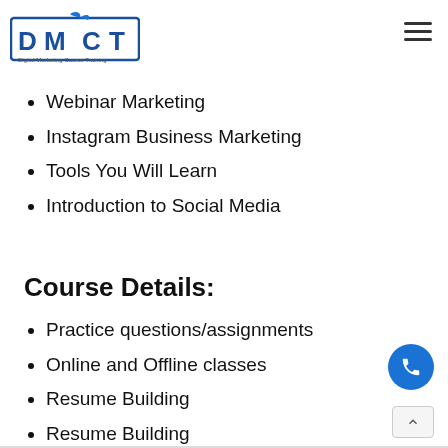[Figure (logo): DMCT Digital Marketing Course Training logo with blue text and bird icon]
Webinar Marketing
Instagram Business Marketing
Tools You Will Learn
Introduction to Social Media
Course Details:
Practice questions/assignments
Online and Offline classes
Resume Building
Resume Building